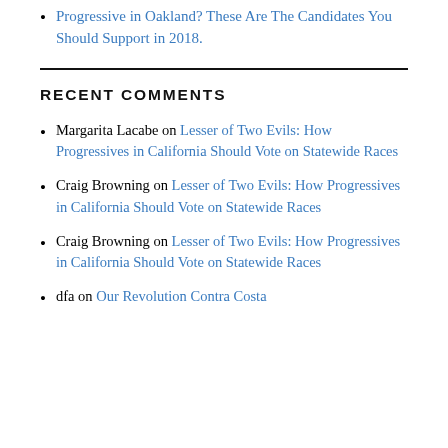Progressive in Oakland? These Are The Candidates You Should Support in 2018.
RECENT COMMENTS
Margarita Lacabe on Lesser of Two Evils: How Progressives in California Should Vote on Statewide Races
Craig Browning on Lesser of Two Evils: How Progressives in California Should Vote on Statewide Races
Craig Browning on Lesser of Two Evils: How Progressives in California Should Vote on Statewide Races
dfa on Our Revolution Contra Costa